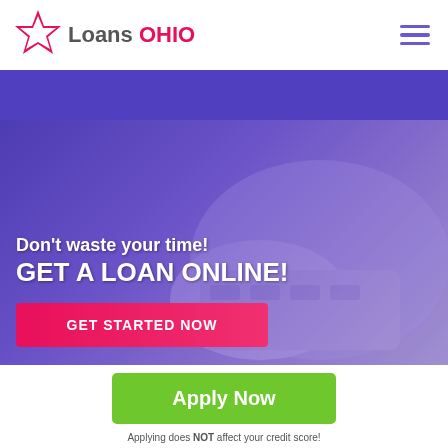Loans OHIO
[Figure (logo): Loans OHIO logo with pink star and gray/pink text]
[Figure (photo): Purple-tinted hero banner with hand/keyboard background image]
Don't waste your time! GET A LOAN ONLINE!
GET STARTED NOW
Apply Now
Applying does NOT affect your credit score! No credit check to apply.